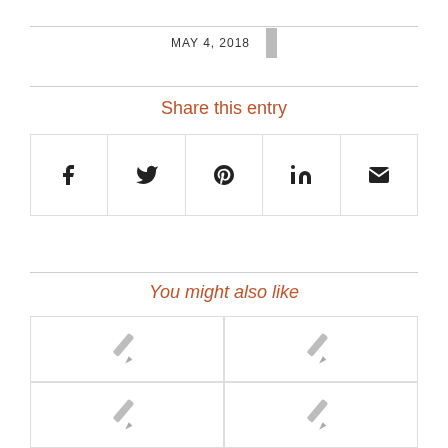MAY 4, 2018
Share this entry
[Figure (infographic): Social sharing bar with five icons: Facebook (f), Twitter (bird), Pinterest (p), LinkedIn (in), Email (envelope)]
You might also like
[Figure (infographic): 2x2 grid of article thumbnail placeholders, each showing a pencil/edit icon on white background]